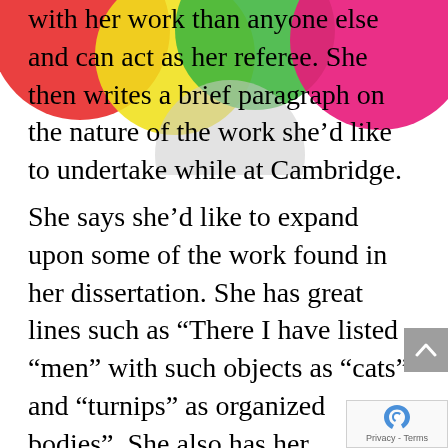[Figure (illustration): Decorative overlapping colorful circles (red, yellow, green, pink/magenta, grey) at the top of the page as a background decoration.]
with her work than anyone else and can act as her referee. She then writes a brief paragraph on the nature of the work she'd like to undertake while at Cambridge.
She says she'd like to expand upon some of the work found in her dissertation. She has great lines such as “There I have listed “men” with such objects as “cats” and “turnips” as organized bodies”. She also has her reservations about Cartesian dualism and its impact on aspects such as “human nature and personal identity and the human mind.” However, she does express reservations about one of the chapters within her dissertation, claiming she has not